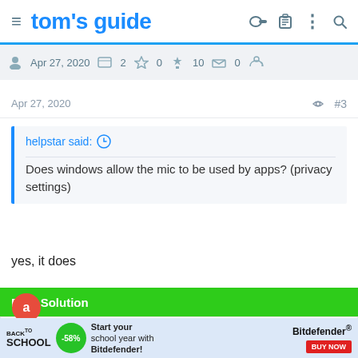tom's guide
Apr 27, 2020  2  0  10  0
Apr 27, 2020  #3
helpstar said: Does windows allow the mic to be used by apps? (privacy settings)
yes, it does
Best Solution
[Figure (other): Vote trophy and up/down arrows with count 0]
[Figure (other): Advertisement banner: Back To School, -58%, Start your school year with Bitdefender!, Bitdefender BUY NOW]